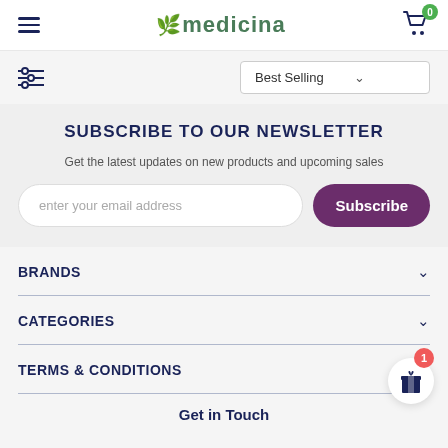medicina
SUBSCRIBE TO OUR NEWSLETTER
Get the latest updates on new products and upcoming sales
enter your email address
Subscribe
BRANDS
CATEGORIES
TERMS & CONDITIONS
Get in Touch